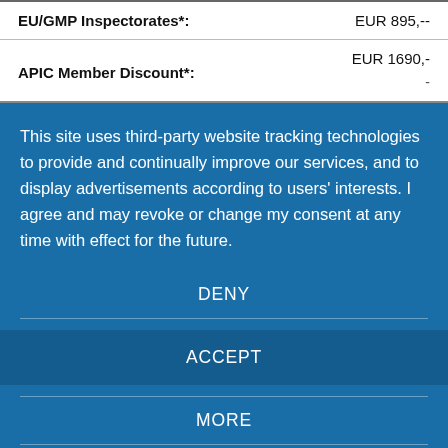| Label | Price |
| --- | --- |
| EU/GMP Inspectorates*: | EUR 895,-- |
| APIC Member Discount*: | EUR 1690,-
- |
This site uses third-party website tracking technologies to provide and continually improve our services, and to display advertisements according to users' interests. I agree and may revoke or change my consent at any time with effect for the future.
DENY
ACCEPT
MORE
Powered by usercentrics & eRecht24